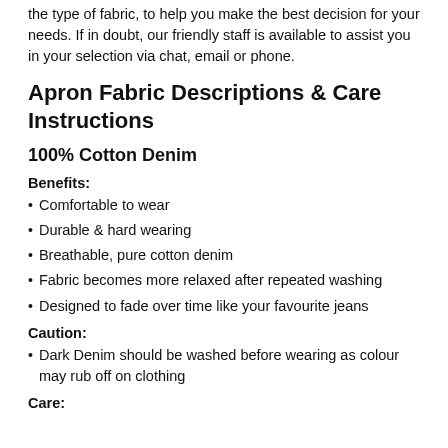the type of fabric, to help you make the best decision for your needs. If in doubt, our friendly staff is available to assist you in your selection via chat, email or phone.
Apron Fabric Descriptions & Care Instructions
100% Cotton Denim
Benefits:
Comfortable to wear
Durable & hard wearing
Breathable, pure cotton denim
Fabric becomes more relaxed after repeated washing
Designed to fade over time like your favourite jeans
Caution:
Dark Denim should be washed before wearing as colour may rub off on clothing
Care: